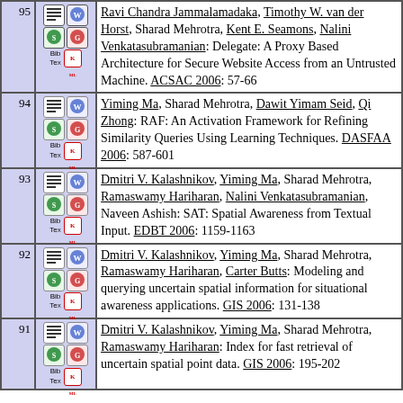| # | Icons | Reference |
| --- | --- | --- |
| 95 | [icons] | Ravi Chandra Jammalamadaka, Timothy W. van der Horst, Sharad Mehrotra, Kent E. Seamons, Nalini Venkatasubramanian: Delegate: A Proxy Based Architecture for Secure Website Access from an Untrusted Machine. ACSAC 2006: 57-66 |
| 94 | [icons] | Yiming Ma, Sharad Mehrotra, Dawit Yimam Seid, Qi Zhong: RAF: An Activation Framework for Refining Similarity Queries Using Learning Techniques. DASFAA 2006: 587-601 |
| 93 | [icons] | Dmitri V. Kalashnikov, Yiming Ma, Sharad Mehrotra, Ramaswamy Hariharan, Nalini Venkatasubramanian, Naveen Ashish: SAT: Spatial Awareness from Textual Input. EDBT 2006: 1159-1163 |
| 92 | [icons] | Dmitri V. Kalashnikov, Yiming Ma, Sharad Mehrotra, Ramaswamy Hariharan, Carter Butts: Modeling and querying uncertain spatial information for situational awareness applications. GIS 2006: 131-138 |
| 91 | [icons] | Dmitri V. Kalashnikov, Yiming Ma, Sharad Mehrotra, Ramaswamy Hariharan: Index for fast retrieval of uncertain spatial point data. GIS 2006: 195-202 |